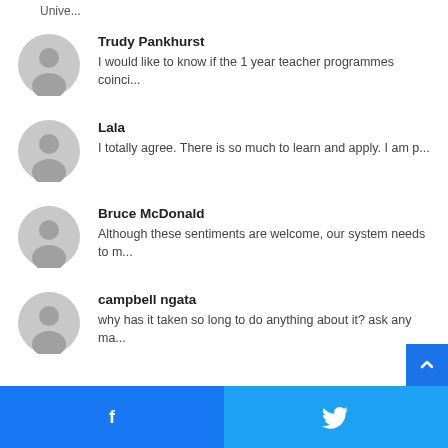Unive...
Trudy Pankhurst
I would like to know if the 1 year teacher programmes coinci...
Lala
I totally agree. There is so much to learn and apply. I am p...
Bruce McDonald
Although these sentiments are welcome, our system needs to m...
campbell ngata
why has it taken so long to do anything about it? ask any ma...
[Figure (other): Social media share buttons: Facebook and Twitter at the bottom of the page]